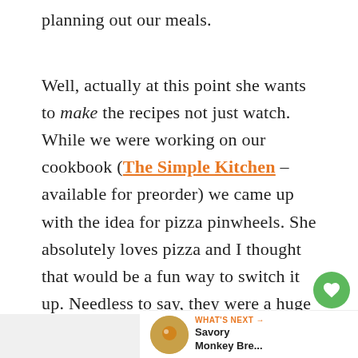planning out our meals.
Well, actually at this point she wants to make the recipes not just watch. While we were working on our cookbook (The Simple Kitchen – available for preorder) we came up with the idea for pizza pinwheels. She absolutely loves pizza and I thought that would be a fun way to switch it up. Needless to say, they were a huge hit!